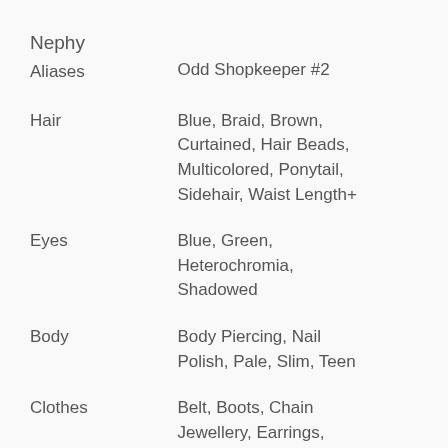Nephy
| Aliases | Odd Shopkeeper #2 |
| Hair | Blue, Braid, Brown, Curtained, Hair Beads, Multicolored, Ponytail, Sidehair, Waist Length+ |
| Eyes | Blue, Green, Heterochromia, Shadowed |
| Body | Body Piercing, Nail Polish, Pale, Slim, Teen |
| Clothes | Belt, Boots, Chain Jewellery, Earrings, Garter Belt Stockings, String Ribbon Tie, Thigh-high Boots, Waitstaff Uniform |